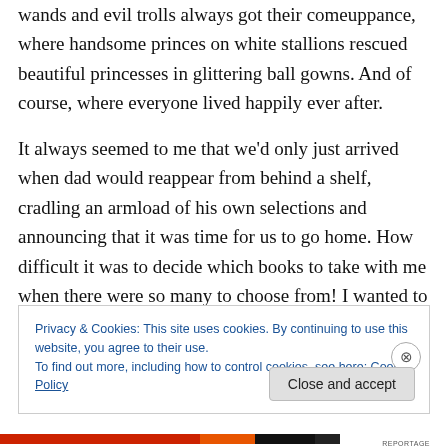wands and evil trolls always got their comeuppance, where handsome princes on white stallions rescued beautiful princesses in glittering ball gowns. And of course, where everyone lived happily ever after.
It always seemed to me that we'd only just arrived when dad would reappear from behind a shelf, cradling an armload of his own selections and announcing that it was time for us to go home. How difficult it was to decide which books to take with me when there were so many to choose from! I wanted to read them all.
Privacy & Cookies: This site uses cookies. By continuing to use this website, you agree to their use. To find out more, including how to control cookies, see here: Cookie Policy